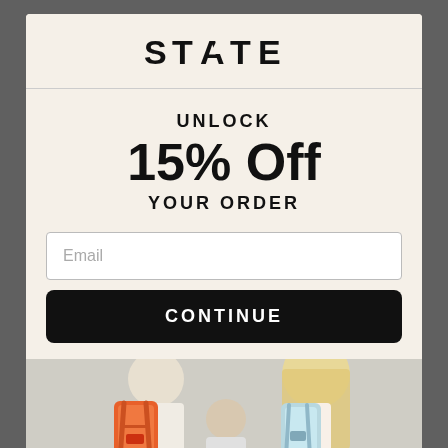[Figure (logo): STATE brand logo with geometric triangle in letter A]
UNLOCK
15% Off
YOUR ORDER
Email
CONTINUE
[Figure (photo): Three children seen from behind wearing backpacks — orange, light blue — standing against a white wall]